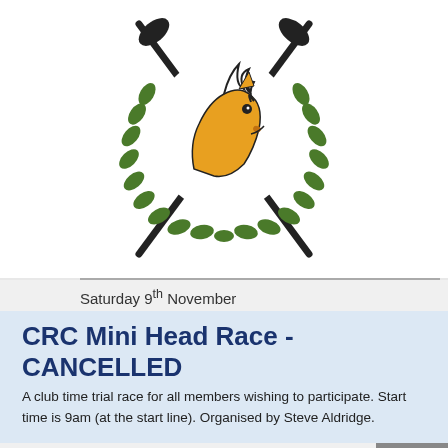[Figure (logo): Rowing club crest with golden horse head, crossed oars, and laurel wreath on white background]
Saturday 9th November
CRC Mini Head Race - CANCELLED
A club time trial race for all members wishing to participate. Start time is 9am (at the start line). Organised by Steve Aldridge.
[Figure (logo): Rowing club crest with crossed oars in green and yellow, crown, shield with blue and green quarters, letters R P C]
Saturday 19th October 2019